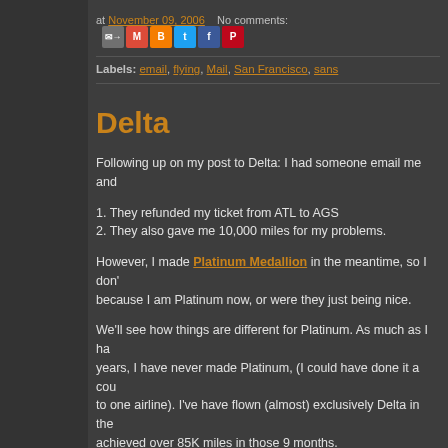at November 09, 2006  No comments:  [share icons]
Labels: email, flying, Mail, San Francisco, sans
Delta
Following up on my post to Delta: I had someone email me and...
1. They refunded my ticket from ATL to AGS
2. They also gave me 10,000 miles for my problems.
However, I made Platinum Medallion in the meantime, so I don't because I am Platinum now, or were they just being nice.
We'll see how things are different for Platinum. As much as I ha years, I have never made Platinum, (I could have done it a cou to one airline). I've have flown (almost) exclusively Delta in the achieved over 85K miles in those 9 months.
I'll probably break 100K by the end of the year.
All I know is, I have a flight booked for my butt to fly to San Fra have a First Class seat. (Delta upgrades Medallion members b